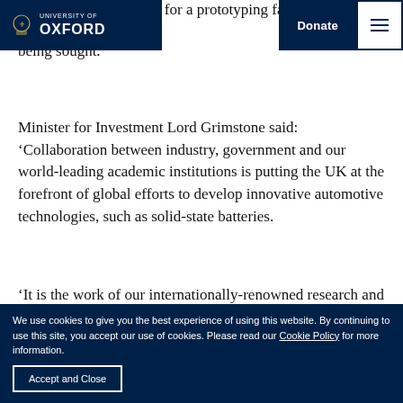[Figure (logo): University of Oxford logo/navbar with shield, UNIVERSITY OF OXFORD text, Donate button, and hamburger menu]
The preliminary design for a prototyping facility has been completed. Sources of funding are being sought.
Minister for Investment Lord Grimstone said: ‘Collaboration between industry, government and our world-leading academic institutions is putting the UK at the forefront of global efforts to develop innovative automotive technologies, such as solid-state batteries.
‘It is the work of our internationally-renowned research and development base, like those brought
We use cookies to give you the best experience of using this website. By continuing to use this site, you accept our use of cookies. Please read our Cookie Policy for more information.
Accept and Close